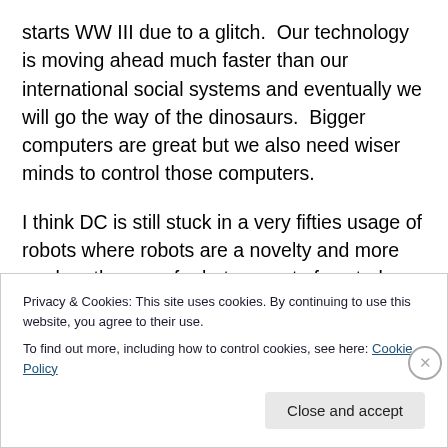starts WW III due to a glitch.  Our technology is moving ahead much faster than our international social systems and eventually we will go the way of the dinosaurs.  Bigger computers are great but we also need wiser minds to control those computers.
I think DC is still stuck in a very fifties usage of robots where robots are a novelty and more modern themes of robots as out of control technology due to social rather than novelty reasons is absent.  Individual robots go haywire in the DC universe but the idea that social
Privacy & Cookies: This site uses cookies. By continuing to use this website, you agree to their use.
To find out more, including how to control cookies, see here: Cookie Policy